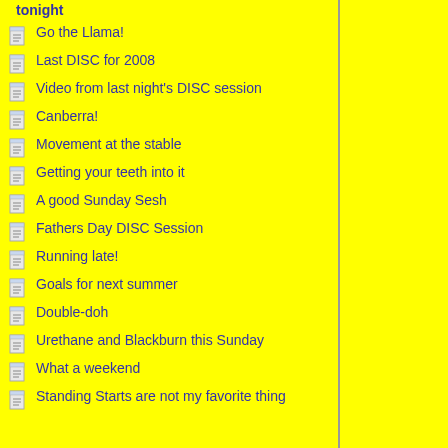tonight
Go the Llama!
Last DISC for 2008
Video from last night's DISC session
Canberra!
Movement at the stable
Getting your teeth into it
A good Sunday Sesh
Fathers Day DISC Session
Running late!
Goals for next summer
Double-doh
Urethane and Blackburn this Sunday
What a weekend
Standing Starts are not my favorite thing